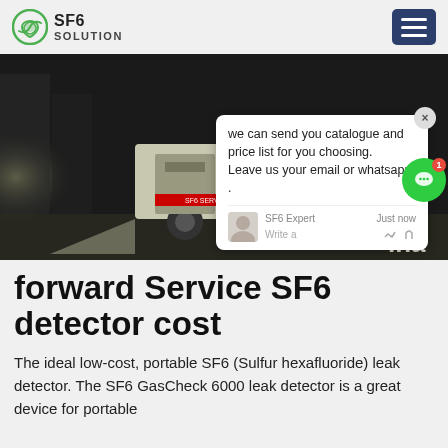SF6 SOLUTION
[Figure (photo): A service truck with SF6 gas equipment at night, with a worker in blue protective gear visible. A chat popup overlay is visible showing a message from SF6 Expert: 'we can send you catalogue and price list for you choosing. Leave us your email or whatsapp.' with a green chat button and badge showing 1 notification. Text 'ina' visible on right edge.]
forward Service SF6 detector cost
The ideal low-cost, portable SF6 (Sulfur hexafluoride) leak detector. The SF6 GasCheck 6000 leak detector is a great device for portable